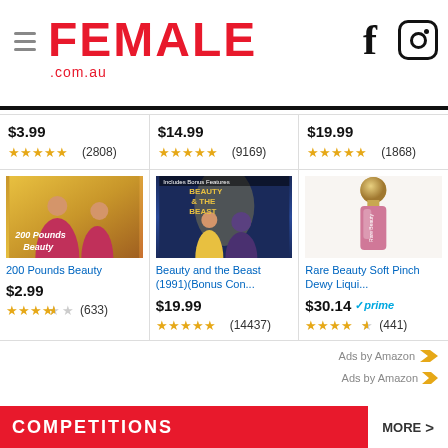FEMALE.com.au
[Figure (screenshot): Product grid showing Amazon ads: top row with prices $3.99 (2808 reviews), $14.99 (9169 reviews), $19.99 (1868 reviews). Bottom row: 200 Pounds Beauty $2.99 3.5 stars (633), Beauty and the Beast (1991)(Bonus Con... $19.99 5 stars (14437), Rare Beauty Soft Pinch Dewy Liqui... $30.14 prime 4.5 stars (441).]
Ads by Amazon
COMPETITIONS
MORE >